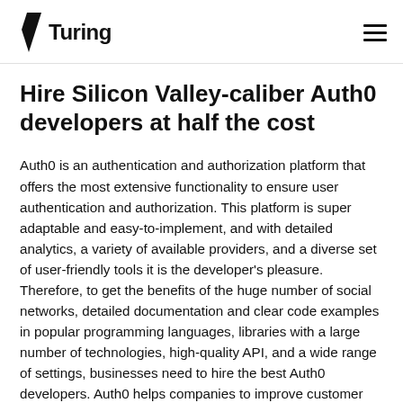Turing
Hire Silicon Valley-caliber Auth0 developers at half the cost
Auth0 is an authentication and authorization platform that offers the most extensive functionality to ensure user authentication and authorization. This platform is super adaptable and easy-to-implement, and with detailed analytics, a variety of available providers, and a diverse set of user-friendly tools it is the developer's pleasure. Therefore, to get the benefits of the huge number of social networks, detailed documentation and clear code examples in popular programming languages, libraries with a large number of technologies, high-quality API, and a wide range of settings, businesses need to hire the best Auth0 developers. Auth0 helps companies to improve customer experience through seamless SSO, make MFA as easy as a